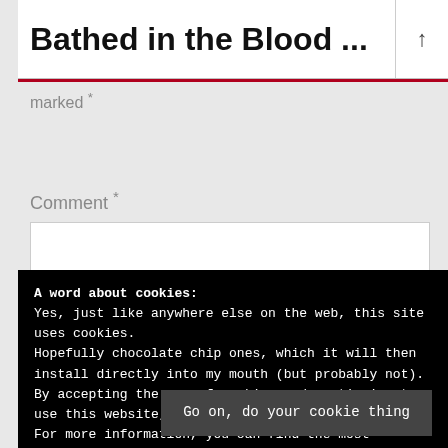Bathed in the Blood ...
marked *
Comment *
A word about cookies:
Yes, just like anywhere else on the web, this site uses cookies. Hopefully chocolate chip ones, which it will then install directly into my mouth (but probably not).
By accepting the use of cookies and continuing to use this website, you agree to the use of cookies. For more information, you can find the most reputable source of information this side of Cookie Monster via the Cookie Policy
Go on, do your cookie thing